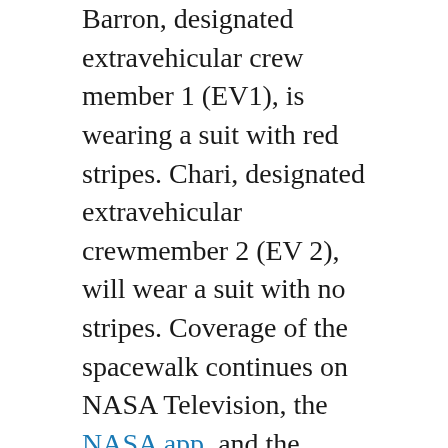Barron, designated extravehicular crew member 1 (EV1), is wearing a suit with red stripes. Chari, designated extravehicular crewmember 2 (EV 2), will wear a suit with no stripes. Coverage of the spacewalk continues on NASA Television, the NASA app, and the agency's website.
Barron and Chari's primary task will be to assemble and install modification kits required for upcoming solar array upgrades. The pair will install brackets and struts to support the future installation of an ISS Roll-Out Solar Array (iROSA).
Learn more about station activities by following @space_station and @ISS_Research